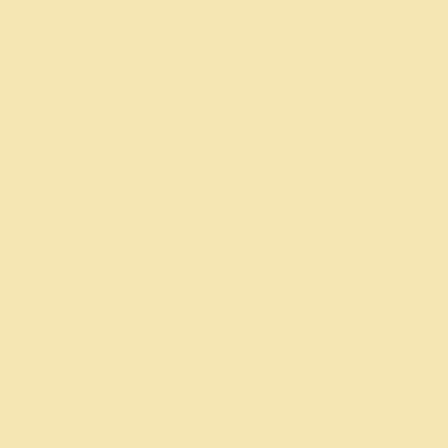as many as 60,000 wells in Pennsylvania, as well as the drill and service roads. In their forecast, Brittingham wrote, 'Fragmentation is detrimental to providing breeding habitat and corridors and ch...
[Figure (photo): Aerial photograph of a natural gas drilling site/fracking pad surrounded by forest, showing drilling equipment, trucks, red machinery, and cleared land adjacent to wooded area.]
pointed out that